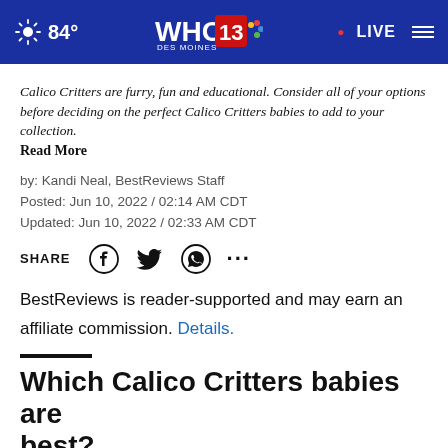84° WHO 13 DES MOINES NBC LIVE
Calico Critters are furry, fun and educational. Consider all of your options before deciding on the perfect Calico Critters babies to add to your collection. Read More
by: Kandi Neal, BestReviews Staff
Posted: Jun 10, 2022 / 02:14 AM CDT
Updated: Jun 10, 2022 / 02:33 AM CDT
SHARE
BestReviews is reader-supported and may earn an affiliate commission. Details.
Which Calico Critters babies are best?